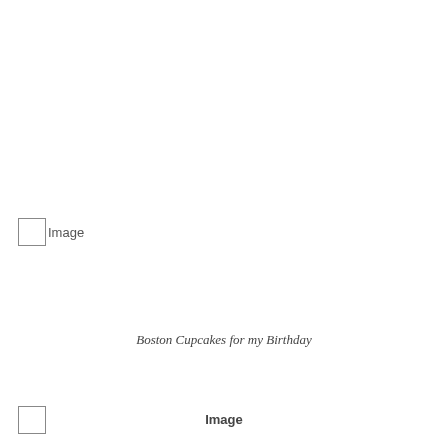[Figure (other): Small square image placeholder box with label 'Image' to its right, positioned at left side mid-page]
Boston Cupcakes for my Birthday
[Figure (other): Small square image placeholder box positioned at bottom-left of page]
Image